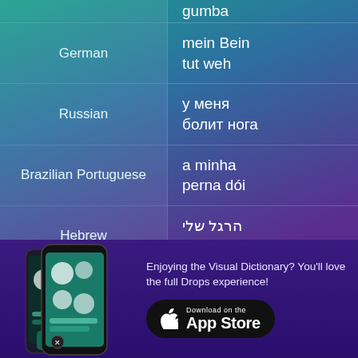| Language | Translation |
| --- | --- |
| (partial top) | gumba |
| German | mein Bein tut weh |
| Russian | у меня болит нога |
| Brazilian Portuguese | a minha perna dói |
| Hebrew | הרגל שלי כואבת |
| Arabic | ساقي تؤلمني |
| Turkish | Bacağım acıyor |
| Danish | mit ben gør ondt |
| (partial) ...wegian | beinet mitt |
Enjoying the Visual Dictionary? You'll love the full Drops experience!
[Figure (screenshot): App Store download button and phone screenshot showing Drops app]
Download on the App Store